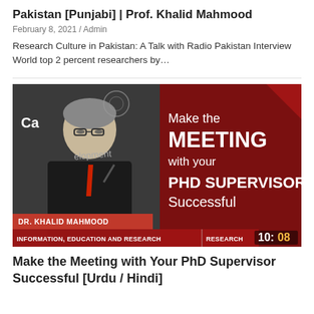Pakistan [Punjabi] | Prof. Khalid Mahmood
February 8, 2021 / Admin
Research Culture in Pakistan: A Talk with Radio Pakistan Interview World top 2 percent researchers by…
[Figure (screenshot): Video thumbnail showing Dr. Khalid Mahmood at a podium with text overlay 'Make the MEETING with your PHD SUPERVISOR Successful'. Bottom bars show 'DR. KHALID MAHMOOD', 'INFORMATION, EDUCATION AND RESEARCH | RESEARCH' and timer '10:08'.]
Make the Meeting with Your PhD Supervisor Successful [Urdu / Hindi]